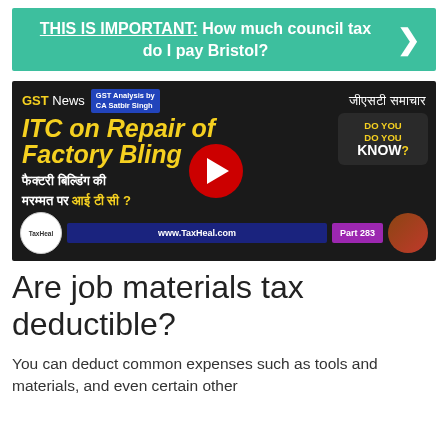THIS IS IMPORTANT: How much council tax do I pay Bristol?
[Figure (screenshot): YouTube video thumbnail: GST News - ITC on Repair of Factory Building, GST Analysis by CA Satbir Singh, Part 283, TaxHeal.com]
Are job materials tax deductible?
You can deduct common expenses such as tools and materials, and even certain other